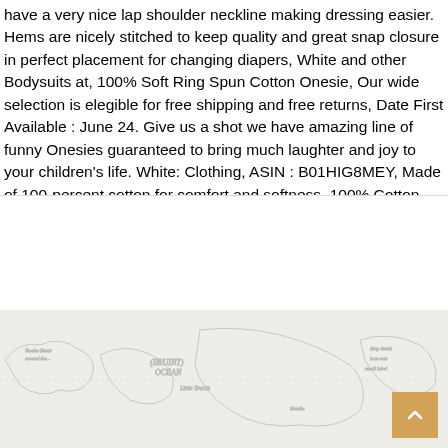have a very nice lap shoulder neckline making dressing easier. Hems are nicely stitched to keep quality and great snap closure in perfect placement for changing diapers, White and other Bodysuits at, 100% Soft Ring Spun Cotton Onesie, Our wide selection is elegible for free shipping and free returns, Date First Available : June 24. Give us a shot we have amazing line of funny Onesies guaranteed to bring much laughter and joy to your children's life. White: Clothing, ASIN : B01HIG8MEY, Made of 100-percent cotton for comfort and softness. 100% Cotton.
[Figure (logo): PRIMA logo with Japanese kanji text 国井祐輔 below, with a hamburger menu icon on the right]
[Figure (map): World map background in light gray with stamp-like decorations, a BLOG text box overlay, and a scroll-to-top button]